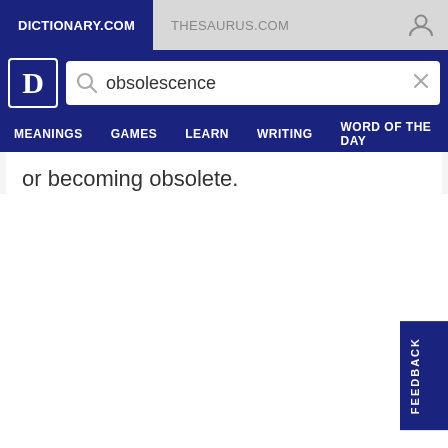DICTIONARY.COM
THESAURUS.COM
obsolescence
MEANINGS  GAMES  LEARN  WRITING  WORD OF THE DAY
or becoming obsolete.